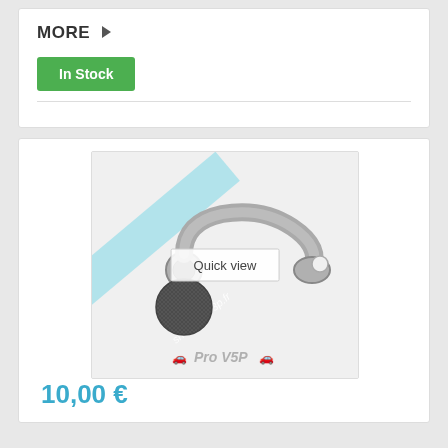MORE
In Stock
[Figure (photo): Automotive metal pipe/tube part with curved ends, shown on a light grey background with a diagonal light blue watermark banner reading 'shopfacav3p.fr' and a 'Pro V5P' logo at the bottom. A 'Quick view' overlay is visible.]
10,00 €